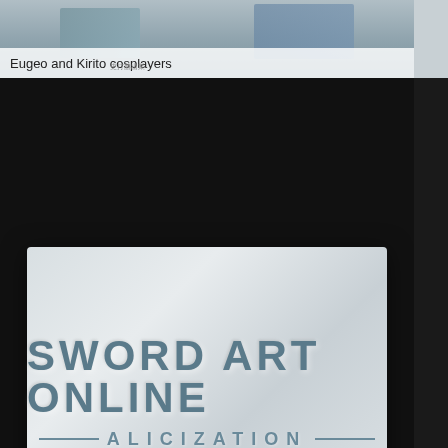[Figure (photo): Eugeo and Kirito cosplayers photo, partially visible at top]
Eugeo and Kirito cosplayers
[Figure (photo): Sword Art Online Alicization title card on dark background]
Title card
[Figure (photo): Anime art exhibition with posters and cosplayer/person standing in front]
[Figure (photo): Sword Art Online Alicization anime artwork with characters]